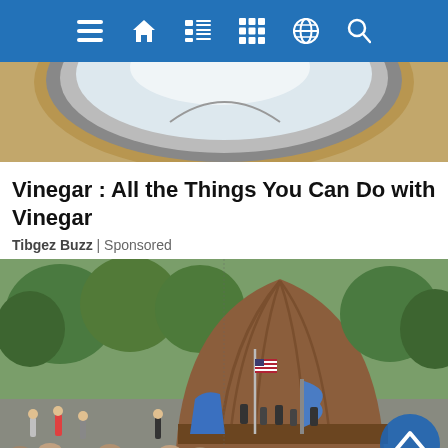[Figure (screenshot): Blue navigation bar with white icons: hamburger menu, home, list, calendar/grid, globe, and search icons]
[Figure (photo): Partial view of a circular skylight or dome ceiling with tan/sandy exterior and silver metallic rim, viewed from below]
Vinegar : All the Things You Can Do with Vinegar
Tibgez Buzz | Sponsored
[Figure (photo): Outdoor concert at a bandshell/amphitheater in a park setting. A large brown dome-shaped stage structure with arched rib detailing is the centerpiece. American and blue flags are visible. Performers are on stage and a large crowd is seated in the foreground. Green trees surround the venue. A blue scroll-to-top arrow button is in the bottom-right corner.]